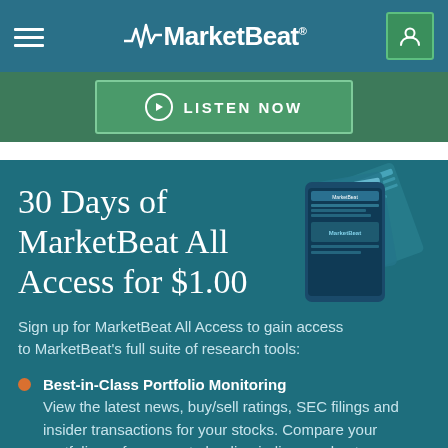MarketBeat
LISTEN NOW
30 Days of MarketBeat All Access for $1.00
Sign up for MarketBeat All Access to gain access to MarketBeat's full suite of research tools:
Best-in-Class Portfolio Monitoring
View the latest news, buy/sell ratings, SEC filings and insider transactions for your stocks. Compare your portfolio performance to leading indices and get